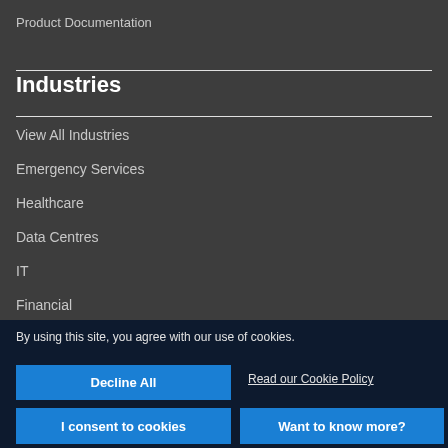Product Documentation
Industries
View All Industries
Emergency Services
Healthcare
Data Centres
IT
Financial
By using this site, you agree with our use of cookies.
Decline All
Read our Cookie Policy
I consent to cookies
Want to know more?